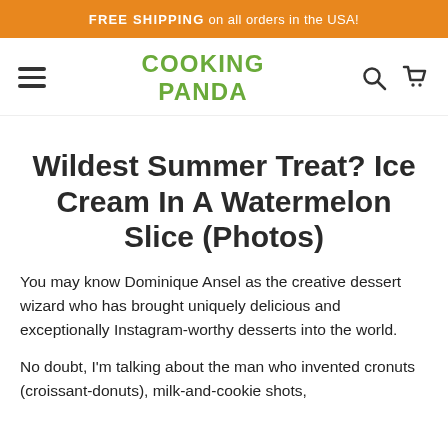FREE SHIPPING on all orders in the USA!
[Figure (logo): Cooking Panda logo with hamburger menu icon on left and search/cart icons on right]
Wildest Summer Treat? Ice Cream In A Watermelon Slice (Photos)
You may know Dominique Ansel as the creative dessert wizard who has brought uniquely delicious and exceptionally Instagram-worthy desserts into the world.
No doubt, I'm talking about the man who invented cronuts (croissant-donuts), milk-and-cookie shots,